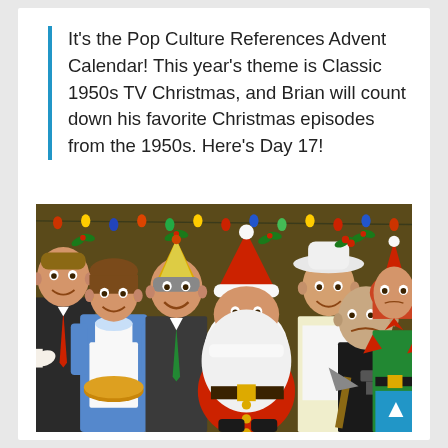It's the Pop Culture References Advent Calendar! This year's theme is Classic 1950s TV Christmas, and Brian will count down his favorite Christmas episodes from the 1950s. Here's Day 17!
[Figure (illustration): A colorful illustration of classic 1950s TV characters dressed in Christmas costumes, gathered around Santa Claus against a festive dark olive/brown background with Christmas lights. Characters include a man in suit holding napkin, a woman in blue dress and apron holding a pie, a man in suit with party hat, Santa Claus in red suit with white beard, a cowboy in white hat with holly, a heavyset man in black holding an axe and gun, and a redheaded woman in green elf costume.]